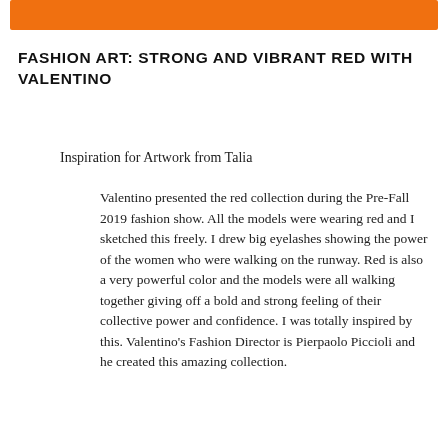[Figure (other): Orange banner/button bar at top of page]
FASHION ART: STRONG AND VIBRANT RED WITH VALENTINO
Inspiration for Artwork from Talia
Valentino presented the red collection during the Pre-Fall 2019 fashion show. All the models were wearing red and I sketched this freely. I drew big eyelashes showing the power of the women who were walking on the runway. Red is also a very powerful color and the models were all walking together giving off a bold and strong feeling of their collective power and confidence. I was totally inspired by this. Valentino's Fashion Director is Pierpaolo Piccioli and he created this amazing collection.